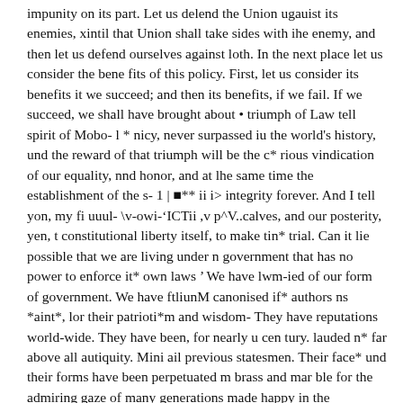impunity on its part. Let us delend the Union ugauist its enemies, xintil that Union shall take sides with ihe enemy, and then let us defend ourselves against loth. In the next place let us consider the bene fits of this policy. First, let us consider its benefits it we succeed; and then its benefits, if we fail. If we succeed, we shall have brought about • triumph of Law tell spirit of Mobo- l * nicy, never surpassed iu the world's history, und the reward of that triumph will be the c* rious vindication of our equality, nnd honor, and at lhe same time the establishment of the s- 1 | ■** ii i> integrity forever. And I tell yon, my fi uuul- \v-owi-'ICTii ,v p^V..calves, and our posterity, yen, t constitutional liberty itself, to make tin* trial. Can it lie possible that we are living under n government that has no power to enforce it* own laws ' We have lwm-ied of our form of government. We have ftliunM canonised if* authors ns *aint*, lor their patrioti*m and wisdom- They have reputations world-wide. They have been, for nearly u cen tury. lauded n* far above all autiquity. Mini ail previous statesmen. Their face* und their forms have been perpetuated m brass and mar ble for the admiring gaze of many generations made happy in the enjoyment ot their laltor*. In verse and song, in history and philosophy, in light literature and graver learning, their name* are eulogised, and their deeds commem orated, ami their wisdom ennobled. The paint or has